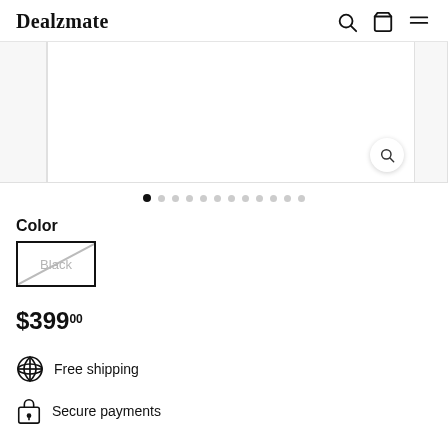Dealzmate
[Figure (screenshot): Product image carousel area with zoom button, mostly blank white center panel with narrow side panels]
[Figure (infographic): Carousel dot navigation: 12 dots, first dot filled black, rest light gray]
Color
Black (color swatch button, crossed out)
$399.00
Free shipping
Secure payments